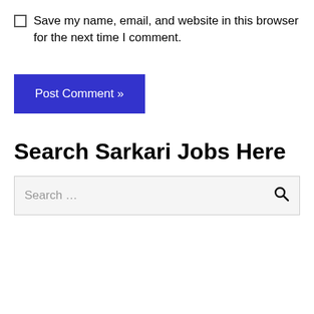Save my name, email, and website in this browser for the next time I comment.
Post Comment »
Search Sarkari Jobs Here
Search ...